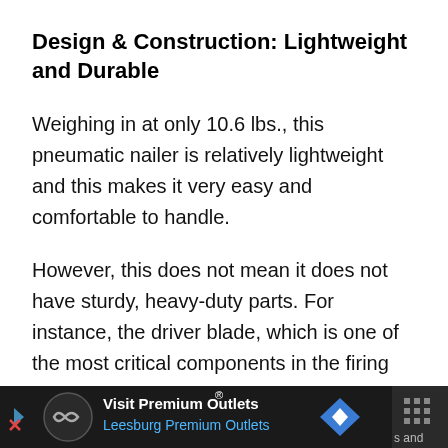Design & Construction: Lightweight and Durable
Weighing in at only 10.6 lbs., this pneumatic nailer is relatively lightweight and this makes it very easy and comfortable to handle.
However, this does not mean it does not have sturdy, heavy-duty parts. For instance, the driver blade, which is one of the most critical components in the firing process, is made using special, hardened metal, which ensures it has a long lifespan.
[Figure (other): Advertisement banner for Visit Premium Outlets - Leesburg Premium Outlets, with logo icon, navigation arrows, and right-side branding block]